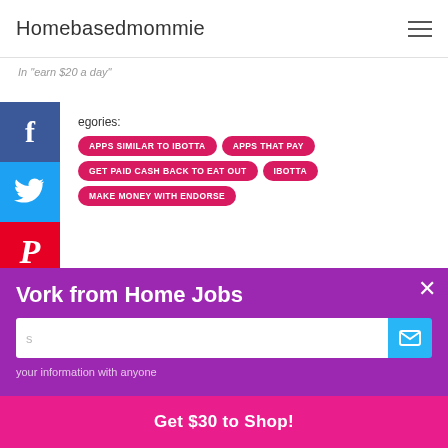Homebasedmommie
In "earn $20 a day"
[Figure (other): Social media share buttons: Facebook, Twitter, Pinterest]
Categories: APPS SIMILAR TO IBOTTA  APPS THAT PAY  GET PAID CASH BACK TO EAT OUT  IBOTTA  MAKE MONEY WITH ENDORSE
[Figure (other): Email signup popup with purple background, title 'Work from Home Jobs', email input field, submit button, and privacy note 'your information with anyone'. Close X button top right.]
nd
e
assume you accept this policy as long as you are using this website
Accept
Vi
Get $30 to Shop!